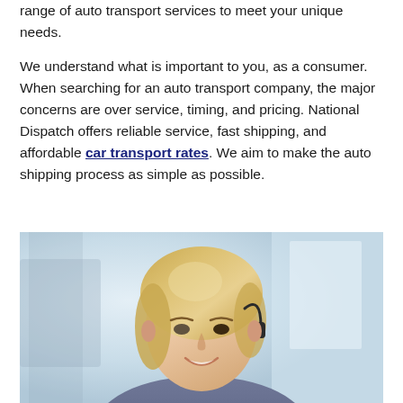range of auto transport services to meet your unique needs.
We understand what is important to you, as a consumer. When searching for an auto transport company, the major concerns are over service, timing, and pricing. National Dispatch offers reliable service, fast shipping, and affordable car transport rates. We aim to make the auto shipping process as simple as possible.
[Figure (photo): A smiling blonde woman wearing a headset microphone, photographed against a blurred office background. She appears to be a customer service representative.]